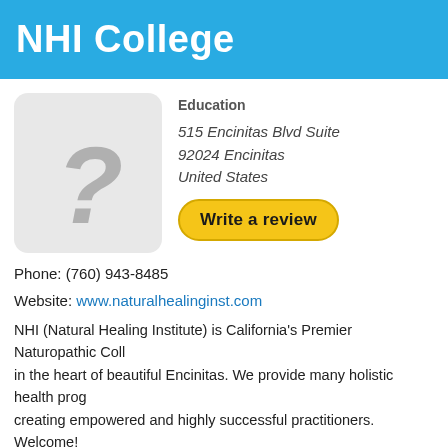NHI College
[Figure (illustration): Gray rounded rectangle placeholder with a large gray question mark symbol]
Education
515 Encinitas Blvd Suite
92024 Encinitas
United States
Write a review
Phone: (760) 943-8485
Website: www.naturalhealinginst.com
NHI (Natural Healing Institute) is California's Premier Naturopathic Coll... in the heart of beautiful Encinitas. We provide many holistic health prog... creating empowered and highly successful practitioners. Welcome!